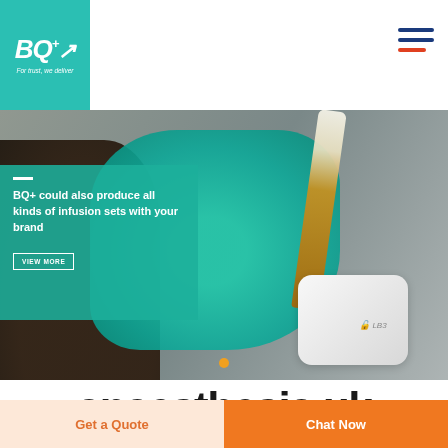[Figure (logo): BQ+ logo on teal background with tagline 'For trust, we deliver']
[Figure (photo): Medical professional wearing teal gloves handling an infusion set and device, with teal overlay box containing promotional text]
BQ+ could also produce all kinds of infusion sets with your brand
anaesthesia.uk
Get a Quote
Chat Now